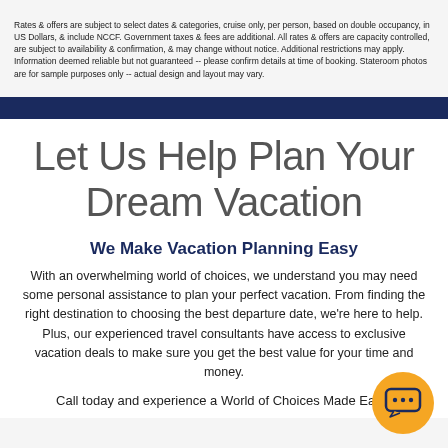Rates & offers are subject to select dates & categories, cruise only, per person, based on double occupancy, in US Dollars, & include NCCF. Government taxes & fees are additional. All rates & offers are capacity controlled, are subject to availability & confirmation, & may change without notice. Additional restrictions may apply. Information deemed reliable but not guaranteed -- please confirm details at time of booking. Stateroom photos are for sample purposes only -- actual design and layout may vary.
Let Us Help Plan Your Dream Vacation
We Make Vacation Planning Easy
With an overwhelming world of choices, we understand you may need some personal assistance to plan your perfect vacation. From finding the right destination to choosing the best departure date, we're here to help. Plus, our experienced travel consultants have access to exclusive vacation deals to make sure you get the best value for your time and money.
Call today and experience a World of Choices Made Easy!